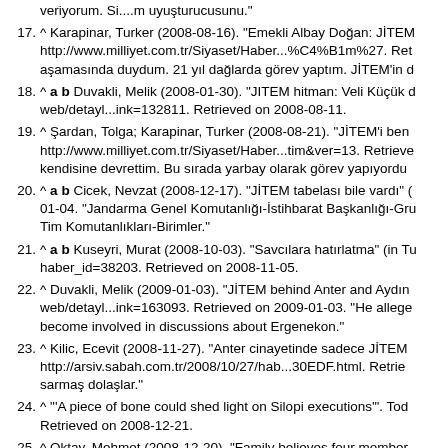veriyorum. Si....m uyuşturucusunu."
17. ^ Karapinar, Turker (2008-08-16). "Emekli Albay Doğan: JİTEM... http://www.milliyet.com.tr/Siyaset/Haber...%C4%B1m%27. Ret... aşamasında duydum. 21 yıl dağlarda görev yaptım. JİTEM'in c...
18. ^ a b Duvakli, Melik (2008-01-30). "JITEM hitman: Veli Küçük c... web/detayl...ink=132811. Retrieved on 2008-08-11.
19. ^ Şardan, Tolga; Karapinar, Turker (2008-08-21). "JİTEM'i ben... http://www.milliyet.com.tr/Siyaset/Haber...tim&ver=13. Retrieve... kendisine devrettim. Bu sırada yarbay olarak görev yapıyordu...
20. ^ a b Cicek, Nevzat (2008-12-17). "JİTEM tabelası bile vardı" (... 01-04. "Jandarma Genel Komutanlığı-İstihbarat Başkanlığı-Gru... Tim Komutanlıkları-Birimler."
21. ^ a b Kuseyri, Murat (2008-10-03). "Savcılara hatırlatma" (in Tu... haber_id=38203. Retrieved on 2008-11-05.
22. ^ Duvakli, Melik (2009-01-03). "JİTEM behind Anter and Aydın... web/detayl...ink=163093. Retrieved on 2009-01-03. "He allege... become involved in discussions about Ergenekon."
23. ^ Kilic, Ecevit (2008-11-27). "Anter cinayetinde sadece JİTEM... http://arsiv.sabah.com.tr/2008/10/27/hab...30EDF.html. Retrie... sarmaş dolaşlar."
24. ^ "'A piece of bone could shed light on Silopi executions'". Tod... Retrieved on 2008-12-21.
25. ^ Oktay, Mehmet (2008-12-20). "Family believes four member...